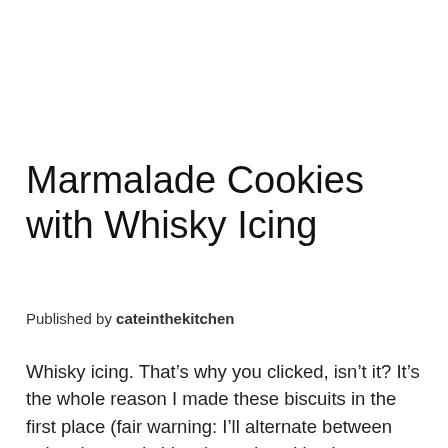Marmalade Cookies with Whisky Icing
Published by cateinthekitchen
Whisky icing. That’s why you clicked, isn’t it? It’s the whole reason I made these biscuits in the first place (fair warning: I’ll alternate between using the words biscuits and cookies because I’m the opposite of a purist, I’m a big sloppy not purist). I recently saw a recipe for cinnamon buns (or something similar) with a whisky glaze (or something similar)